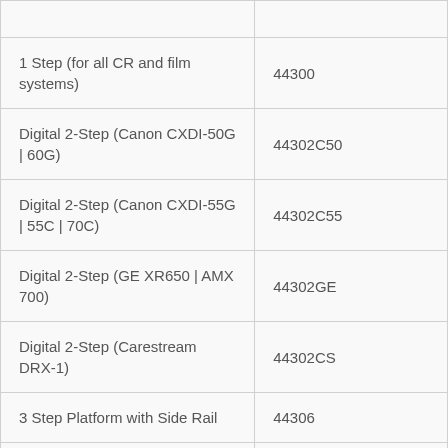|  |  |
| 1 Step (for all CR and film systems) | 44300 |
| Digital 2-Step (Canon CXDI-50G | 60G) | 44302C50 |
| Digital 2-Step (Canon CXDI-55G | 55C | 70C) | 44302C55 |
| Digital 2-Step (GE XR650 | AMX 700) | 44302GE |
| Digital 2-Step (Carestream DRX-1) | 44302CS |
| 3 Step Platform with Side Rail | 44306 |
|  |  |